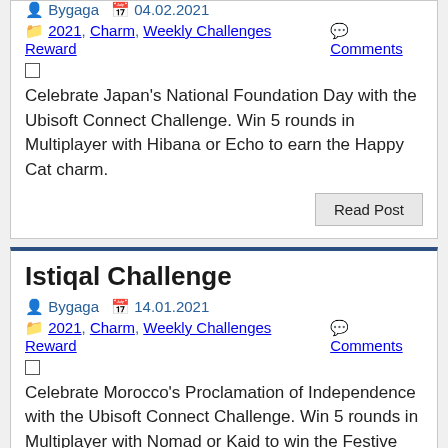Bygaga  04.02.2021
2021, Charm, Weekly Challenges Reward  Comments
Celebrate Japan's National Foundation Day with the Ubisoft Connect Challenge. Win 5 rounds in Multiplayer with Hibana or Echo to earn the Happy Cat charm.
Read Post
Istiqal Challenge
Bygaga  14.01.2021
2021, Charm, Weekly Challenges Reward  Comments
Celebrate Morocco's Proclamation of Independence with the Ubisoft Connect Challenge. Win 5 rounds in Multiplayer with Nomad or Kaid to win the Festive Tajine charm.
Read Post
Sherehe Challenge
Bygaga  18.12.2020